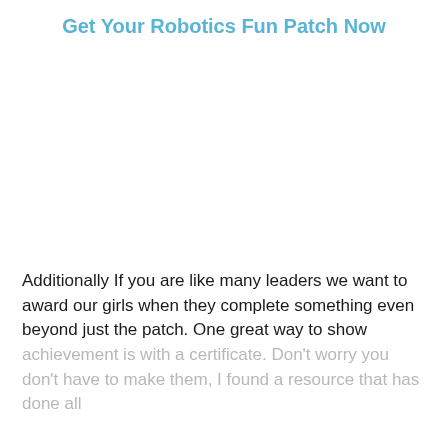Get Your Robotics Fun Patch Now
[Figure (other): Empty white space area, likely where an image would appear]
Additionally If you are like many leaders we want to award our girls when they complete something even beyond just the patch. One great way to show achievement is with a certificate. Don't worry you don't have to make them, I found a resource that has done all